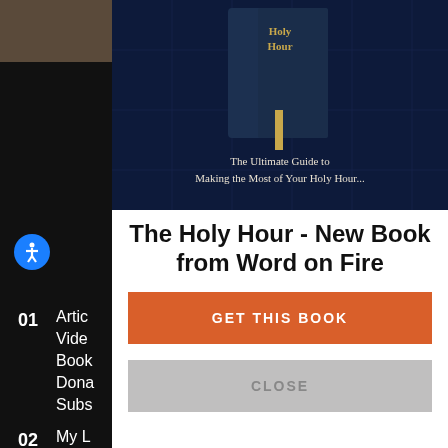[Figure (screenshot): Website screenshot showing a dark navy book cover image for 'The Holy Hour' with text 'The Ultimate Guide to Making the Most of Your Holy Hour...' overlaid on a dark blue decorative background]
[Figure (screenshot): Black sidebar navigation with numbered sections: 01 (Articles, Videos, Books, Donate, Subscribe), 02 (My L..., Cont..., Care..., Press...), 03 (Abou...) and a blue accessibility icon]
The Holy Hour - New Book from Word on Fire
GET THIS BOOK
CLOSE